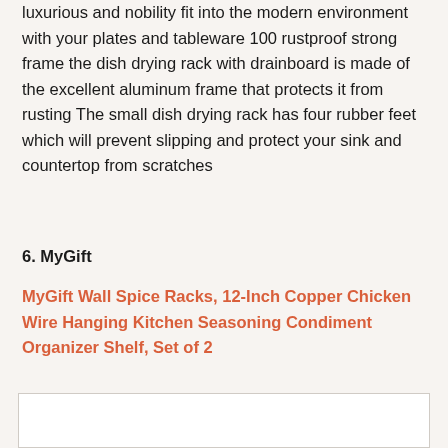luxurious and nobility fit into the modern environment with your plates and tableware 100 rustproof strong frame the dish drying rack with drainboard is made of the excellent aluminum frame that protects it from rusting The small dish drying rack has four rubber feet which will prevent slipping and protect your sink and countertop from scratches
6. MyGift
MyGift Wall Spice Racks, 12-Inch Copper Chicken Wire Hanging Kitchen Seasoning Condiment Organizer Shelf, Set of 2
[Figure (photo): Product image placeholder box (white rectangle with border)]